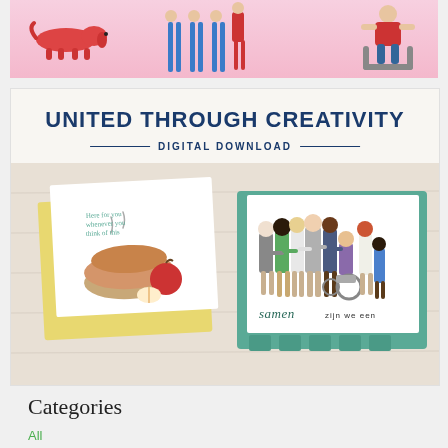[Figure (illustration): Pink banner with illustrated dachshund dog, people's legs/figures in blue and red, and a seated figure with red top on the right side]
[Figure (photo): Product photo showing two handmade greeting cards on a wood surface. Left card has yellow envelope and white card with apple pie and apple illustration. Right card has teal/green frame and white card showing a group of diverse people seen from behind, with text 'samen zijn we een'. Title reads UNITED THROUGH CREATIVITY DIGITAL DOWNLOAD]
Categories
All
3 D...